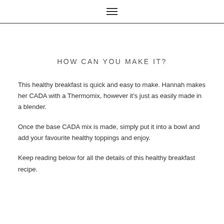≡
HOW CAN YOU MAKE IT?
This healthy breakfast is quick and easy to make. Hannah makes her CADA with a Thermomix, however it's just as easily made in a blender.
Once the base CADA mix is made, simply put it into a bowl and add your favourite healthy toppings and enjoy.
Keep reading below for all the details of this healthy breakfast recipe.